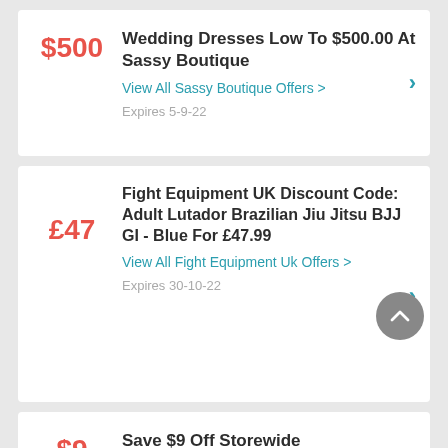$500
Wedding Dresses Low To $500.00 At Sassy Boutique
View All Sassy Boutique Offers >
Expires 5-9-22
£47
Fight Equipment UK Discount Code: Adult Lutador Brazilian Jiu Jitsu BJJ GI - Blue For £47.99
View All Fight Equipment Uk Offers >
Expires 30-10-22
$9
Save $9 Off Storewide